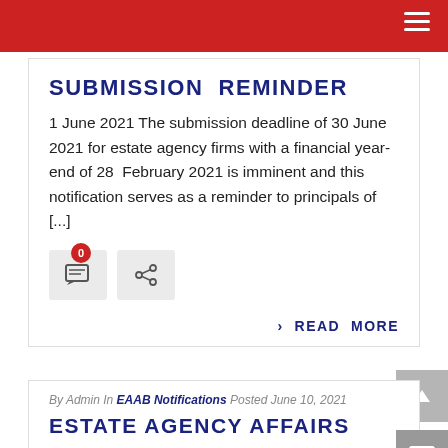SUBMISSION REMINDER
1 June 2021 The submission deadline of 30 June 2021 for estate agency firms with a financial year-end of 28 February 2021 is imminent and this notification serves as a reminder to principals of [...]
› READ MORE
By Admin In EAAB Notifications Posted June 10, 2021
ESTATE AGENCY AFFAIRS